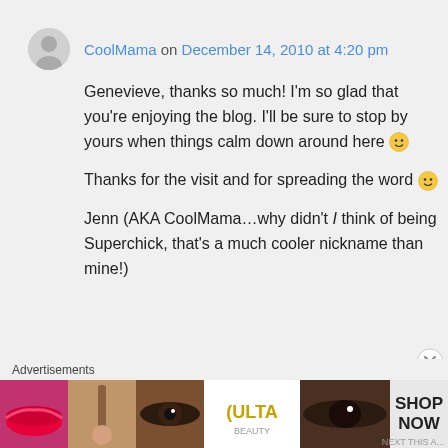CoolMama on December 14, 2010 at 4:20 pm
Genevieve, thanks so much! I'm so glad that you're enjoying the blog. I'll be sure to stop by yours when things calm down around here 🙂
Thanks for the visit and for spreading the word 🙂
Jenn (AKA CoolMama…why didn't I think of being Superchick, that's a much cooler nickname than mine!)
Advertisements